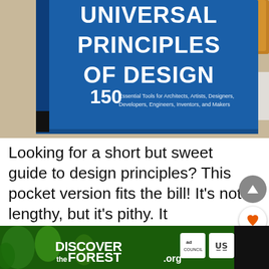[Figure (photo): A blue hardcover book titled 'Universal Principles of Design' with subtitle '150 Essential Tools for Architects, Artists, Designers, Developers, Engineers, Inventors, and Makers', photographed on a wooden surface.]
Looking for a short but sweet guide to design principles? This pocket version fits the bill! It's not lengthy, but it's pithy. It
[Figure (screenshot): An advertisement banner for DISCOVERtheFOREST.org with ad council and US Forest Service logos.]